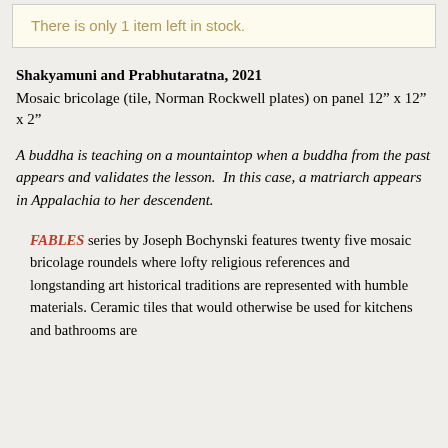There is only 1 item left in stock.
Shakyamuni and Prabhutaratna, 2021
Mosaic bricolage (tile, Norman Rockwell plates) on panel
12" x 12" x 2"
A buddha is teaching on a mountaintop when a buddha from the past appears and validates the lesson. In this case, a matriarch appears in Appalachia to her descendent.
FABLES series by Joseph Bochynski features twenty five mosaic bricolage roundels where lofty religious references and longstanding art historical traditions are represented with humble materials. Ceramic tiles that would otherwise be used for kitchens and bathrooms are